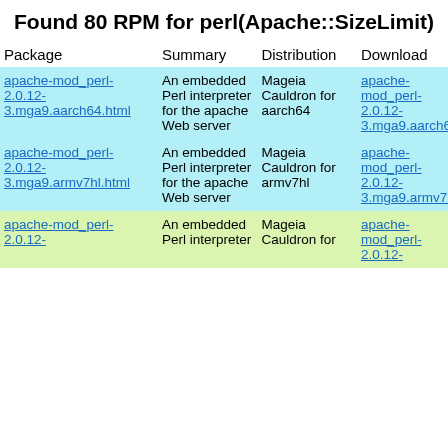Found 80 RPM for perl(Apache::SizeLimit)
| Package | Summary | Distribution | Download |
| --- | --- | --- | --- |
| apache-mod_perl-2.0.12-3.mga9.aarch64.html | An embedded Perl interpreter for the apache Web server | Mageia Cauldron for aarch64 | apache-mod_perl-2.0.12-3.mga9.aarch64.rpm |
| apache-mod_perl-2.0.12-3.mga9.armv7hl.html | An embedded Perl interpreter for the apache Web server | Mageia Cauldron for armv7hl | apache-mod_perl-2.0.12-3.mga9.armv7hl.rpm |
| apache-mod_perl-2.0.12-... | An embedded Perl interpreter | Mageia Cauldron for ... | apache-mod_perl-2.0.12-... |